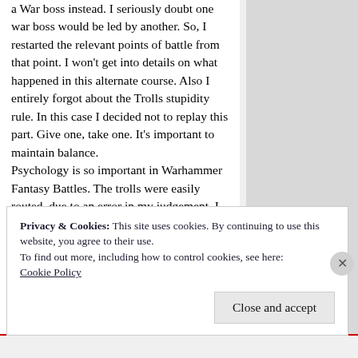a War boss instead. I seriously doubt one war boss would be led by another. So, I restarted the relevant points of battle from that point. I won't get into details on what happened in this alternate course. Also I entirely forgot about the Trolls stupidity rule. In this case I decided not to replay this part. Give one, take one. It's important to maintain balance.
Psychology is so important in Warhammer Fantasy Battles. The trolls were easily routed, due to an error in my judgement. I should have combined them with a strong leadership unit, as I was not aware of their weakness in morale. The orcs lost yet another battle. Their numbers are dwindling and they may lose the entire
Privacy & Cookies: This site uses cookies. By continuing to use this website, you agree to their use.
To find out more, including how to control cookies, see here:
Cookie Policy
Close and accept